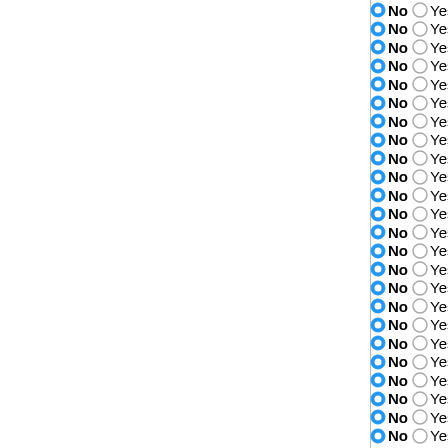No Yes Brucella suis 1330
No Yes Brucella suis 1330
No Yes Brucella melitensis NI
No Yes Brucella melitensis M5-90
No Yes Brucella melitensis M28
No Yes Brucella melitensis bv. 1 str.
No Yes Brucella abortus A13334
No Yes Brucella melitensis biovar Ab
No Yes Brucella abortus bv. 1 str. 9-9
No Yes Sinorhizobium fredii USDA 2
No Yes Sinorhizobium fredii HH103
No Yes Sinorhizobium meliloti 2011
No Yes Sinorhizobium meliloti GR4
No Yes Sinorhizobium meliloti Rm41
No Yes Sinorhizobium meliloti SM11
No Yes Sinorhizobium meliloti BL225
No Yes Sinorhizobium meliloti 1021
No Yes Rhizobium etli CFN 42
No Yes Rhizobium etli bv. mimosae s
No Yes Rhizobium tropici CIAT 899
No Yes Rhizobium leguminosarum b
No Yes Rhizobium leguminosarum b
No Yes Mesorhizobium australicum Y
No Yes Hyphomicrobium denitrificam